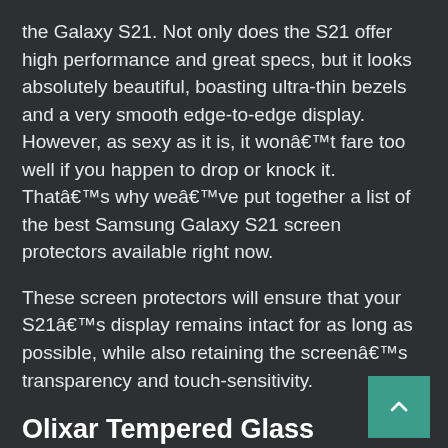the Galaxy S21. Not only does the S21 offer high performance and great specs, but it looks absolutely beautiful, boasting ultra-thin bezels and a very smooth edge-to-edge display. However, as sexy as it is, it won't fare too well if you happen to drop or knock it. That's why we've put together a list of the best Samsung Galaxy S21 screen protectors available right now.
These screen protectors will ensure that your S21's display remains intact for as long as possible, while also retaining the screen's transparency and touch-sensitivity.
Olixar Tempered Glass Screen Protector